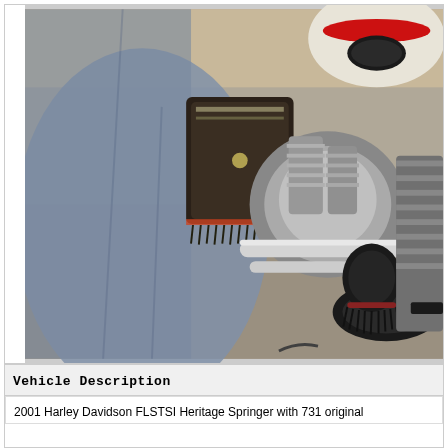[Figure (photo): Photo of a 2001 Harley Davidson FLSTSI Heritage Springer motorcycle parked in a garage. The motorcycle is white with red trim and has leather saddlebags. The engine, chrome exhaust pipes, and fringed accessories are visible. A grey/blue cover or blanket is partially draped to the left.]
Vehicle Description
2001 Harley Davidson FLSTSI Heritage Springer with 731 original